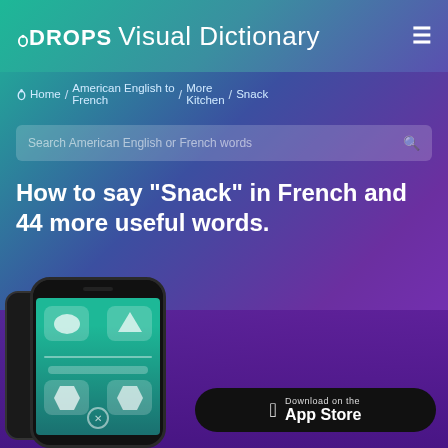DROPS Visual Dictionary
Home / American English to French / More Kitchen / Snack
Search American English or French words
How to say "Snack" in French and 44 more useful words.
AMERICAN
FRENCH
Enjoying the Visual Dictionary? You'll love the full Drops experience!
Download on the App Store